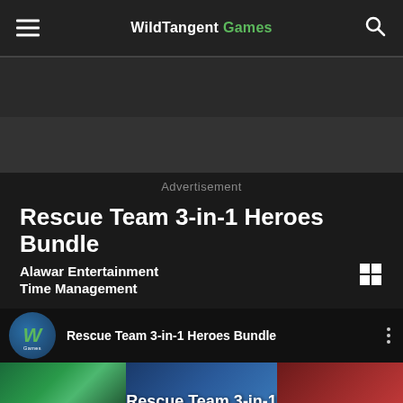WildTangent Games
[Figure (other): Advertisement banner area (two dark gray blocks)]
Advertisement
Rescue Team 3-in-1 Heroes Bundle
Alawar Entertainment
Time Management
[Figure (screenshot): WildTangent Games playlist bar showing logo and title 'Rescue Team 3-in-1 Heroes Bundle' with three-dot menu]
[Figure (screenshot): Bottom image strip showing three game scenes with text 'Rescue Team 3-in-1']